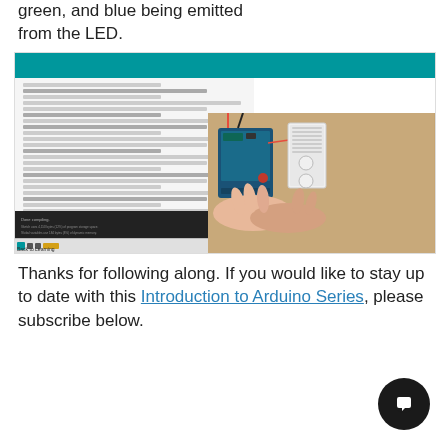green, and blue being emitted from the LED.
[Figure (screenshot): Arduino IDE screenshot on the left showing code editor with teal toolbar and dark console at the bottom, overlapping with a photo of hands working with an Arduino board and breadboard on a wooden surface]
Thanks for following along. If you would like to stay up to date with this Introduction to Arduino Series, please subscribe below.